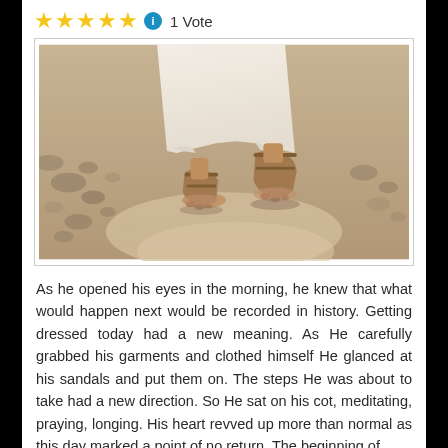[Figure (other): Rating row with 5 gold stars, blue info icon, and '1 Vote' text]
[Figure (photo): Close-up photo of feet in sandals walking on dry rocky desert ground, wearing white robes]
As he opened his eyes in the morning, he knew that what would happen next would be recorded in history. Getting dressed today had a new meaning. As He carefully grabbed his garments and clothed himself He glanced at his sandals and put them on. The steps He was about to take had a new direction. So He sat on his cot, meditating, praying, longing. His heart revved up more than normal as this day marked a point of no return. The beginning of